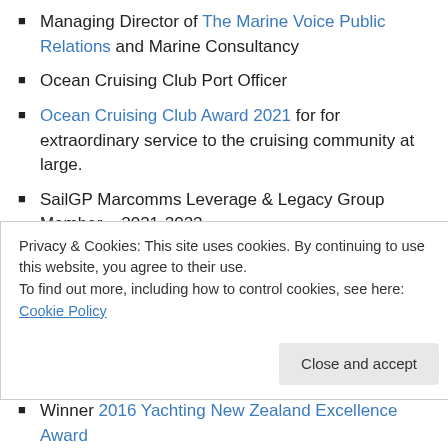Managing Director of The Marine Voice Public Relations and Marine Consultancy
Ocean Cruising Club Port Officer
Ocean Cruising Club Award 2021 for for extraordinary service to the cruising community at large.
SailGP Marcomms Leverage & Legacy Group Member – 2021-2022
Yachting NZ Cruising, Inshore and Offshore Racing Committee Member
Advocate for international sailors in New Zealand having COVID-related visa issues
Privacy & Cookies: This site uses cookies. By continuing to use this website, you agree to their use. To find out more, including how to control cookies, see here: Cookie Policy
Winner 2016 Yachting New Zealand Excellence Award